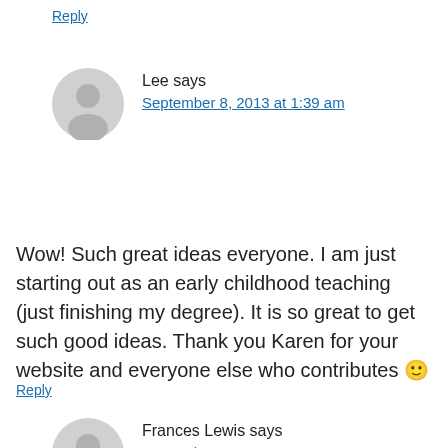Reply
Lee says
September 8, 2013 at 1:39 am
Wow! Such great ideas everyone. I am just starting out as an early childhood teaching (just finishing my degree). It is so great to get such good ideas. Thank you Karen for your website and everyone else who contributes 🙂
Reply
Frances Lewis says
September 9, 2013 at 5:06 pm